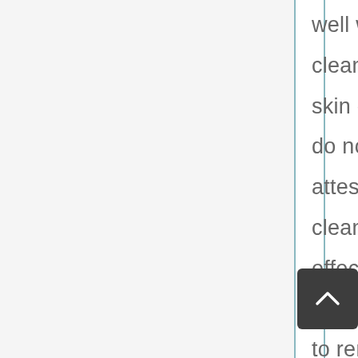well with my skin. They cleansed well but made my skin dry and caused flares. I do not have acne so I cannot attest to that but this cleanser works great and is effective. I did not use on my eyes, I just use grapeseed oil to remove eye makeup. This did not cause any irritation and it does reduce my facial redness a lot, my